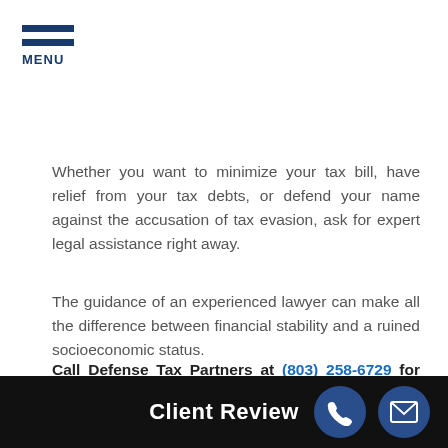[Figure (other): Hamburger menu icon with three blue horizontal bars and MENU label below]
Whether you want to minimize your tax bill, have relief from your tax debts, or defend your name against the accusation of tax evasion, ask for expert legal assistance right away.
The guidance of an experienced lawyer can make all the difference between financial stability and a ruined socioeconomic status.
Call Defense Tax Partners at (803) 258-6729 for your Free Consultation with a Garnett Tax Attorney!
Client Review